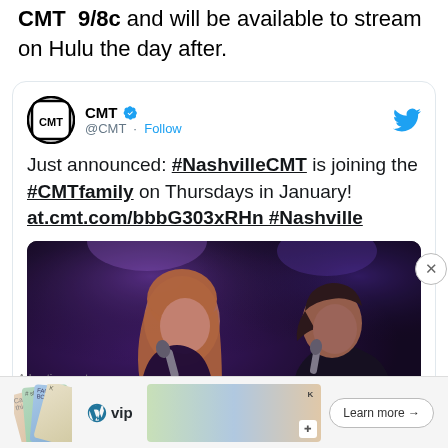CMT 9/8c and will be available to stream on Hulu the day after.
[Figure (screenshot): Embedded tweet from @CMT with verified badge. Tweet text: 'Just announced: #NashvilleCMT is joining the #CMTfamily on Thursdays in January! at.cmt.com/bbbG303xRHn #Nashville'. Below the tweet text is a concert photo showing two performers singing with microphones on a dark stage with purple lighting.]
Advertisements
[Figure (screenshot): Advertisement banner showing WordPress VIP logo alongside logos for slack, Facebook, and other services with a 'Learn more' button.]